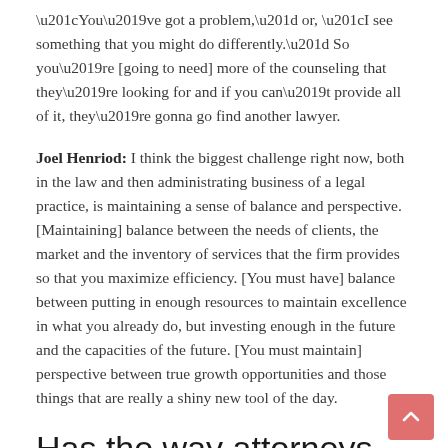“You’ve got a problem,” or, “I see something that you might do differently.” So you’re [going to need] more of the counseling that they’re looking for and if you can’t provide all of it, they’re gonna go find another lawyer.
Joel Henriod: I think the biggest challenge right now, both in the law and then administrating business of a legal practice, is maintaining a sense of balance and perspective. [Maintaining] balance between the needs of clients, the market and the inventory of services that the firm provides so that you maximize efficiency. [You must have] balance between putting in enough resources to maintain excellence in what you already do, but investing enough in the future and the capacities of the future. [You must maintain] perspective between true growth opportunities and those things that are really a shiny new tool of the day.
Has the way attorneys bill clients changed in recent